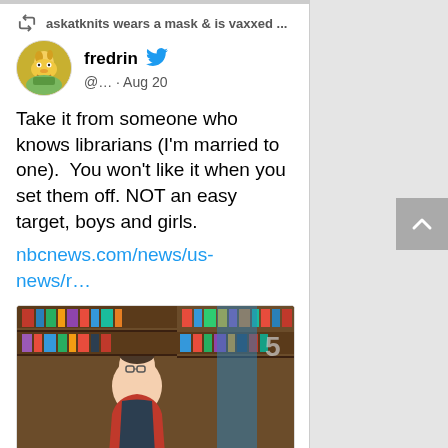askatknits wears a mask & is vaxxed ...
fredrin @... · Aug 20
Take it from someone who knows librarians (I'm married to one).  You won't like it when you set them off. NOT an easy target, boys and girls.
nbcnews.com/news/us-news/r…
[Figure (photo): A woman in a red jacket and black apron sits in front of a large bookshelf filled with books.]
nbcnews.com
In rare move, school librarian